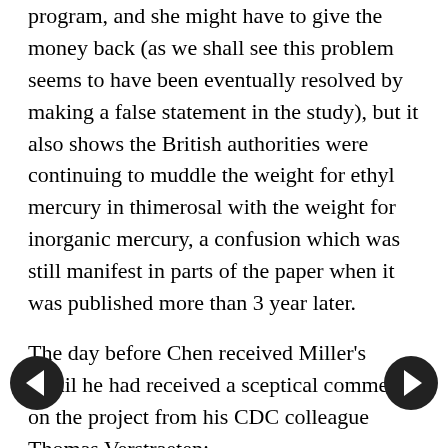program, and she might have to give the money back (as we shall see this problem seems to have been eventually resolved by making a false statement in the study), but it also shows the British authorities were continuing to muddle the weight for ethyl mercury in thimerosal with the weight for inorganic mercury, a confusion which was still manifest in parts of the paper when it was published more than 3 year later.
The day before Chen received Miller's email he had received a sceptical comment on the project from his CDC colleague Thomas Verstraeten:
“I think two issues are important in assessing the potential strength of the GPRD study:
“1. Maximum exposure and 2. Unbiased